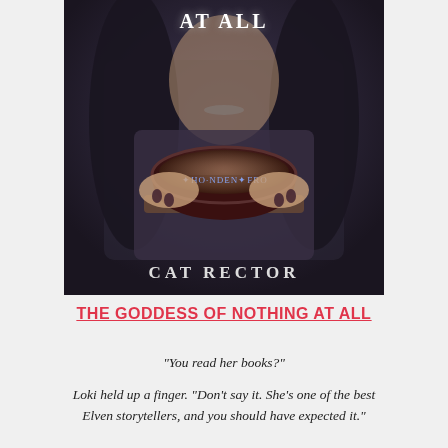[Figure (illustration): Book cover for 'The Goddess of Nothing at All' by Cat Rector. Dark fantasy cover showing hands holding a dark bowl with runes. Text reads 'AT ALL' at top and 'CAT RECTOR' at bottom in white letters on a dark background.]
THE GODDESS OF NOTHING AT ALL
“You read her books?”
Loki held up a finger. “Don’t say it. She’s one of the best Elven storytellers, and you should have expected it.”